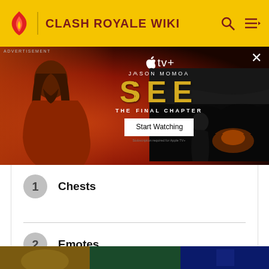CLASH ROYALE WIKI
[Figure (screenshot): Advertisement banner for Apple TV+ show SEE: The Final Chapter featuring Jason Momoa]
1 Chests
2 Emotes
3 Card Mastery
[Figure (photo): Bottom image strip showing partial game/promotional images]